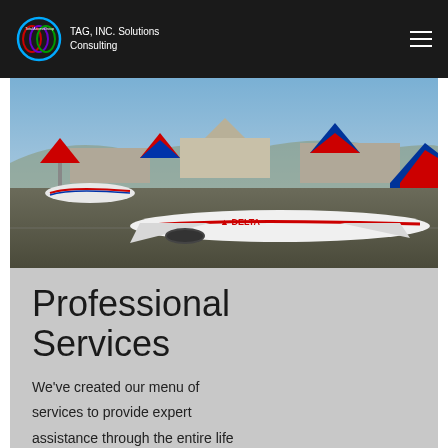TAG, INC. Solutions Consulting
[Figure (photo): Airport tarmac scene with Delta Airlines aircraft taxiing in foreground and American Airlines tails visible in background, with a large airport terminal structure visible in the distance under a blue sky.]
Professional Services
We've created our menu of services to provide expert assistance through the entire life cycle of your initiative from